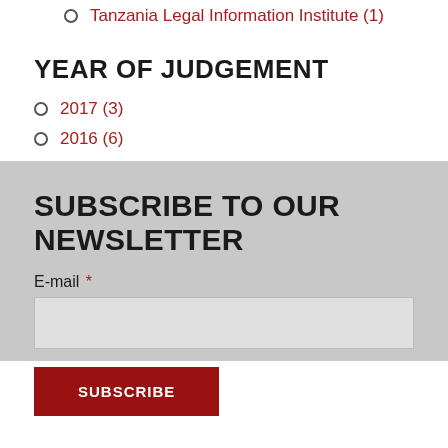Tanzania Legal Information Institute (1)
YEAR OF JUDGEMENT
2017 (3)
2016 (6)
SUBSCRIBE TO OUR NEWSLETTER
E-mail *
SUBSCRIBE